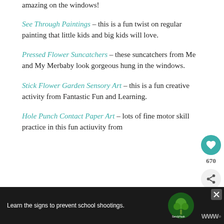amazing on the windows!
See Through Paintings – this is a fun twist on regular painting that little kids and big kids will love.
Pressed Flower Suncatchers – these suncatchers from Me and My Merbaby look gorgeous hung in the windows.
Stick Flower Garden Sensory Art – this is a fun creative activity from Fantastic Fun and Learning.
Hole Punch Contact Paper Art – lots of fine motor skill practice in this fun actiuvity from